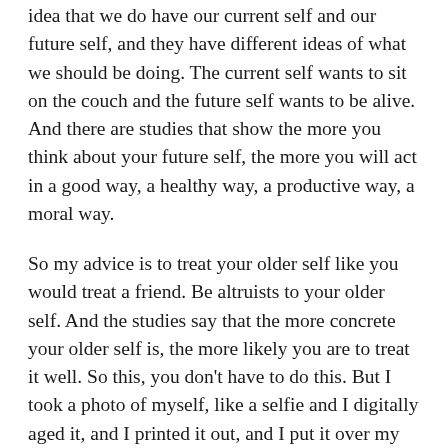idea that we do have our current self and our future self, and they have different ideas of what we should be doing. The current self wants to sit on the couch and the future self wants to be alive. And there are studies that show the more you think about your future self, the more you will act in a good way, a healthy way, a productive way, a moral way.
So my advice is to treat your older self like you would treat a friend. Be altruists to your older self. And the studies say that the more concrete your older self is, the more likely you are to treat it well. So this, you don't have to do this. But I took a photo of myself, like a selfie and I digitally aged it, and I printed it out, and I put it over my desk. So every time I was procrastinating or not wanting to go on the treadmill, I'd look at my future self and he'd be like, “Come on, do it, do it for me. You want